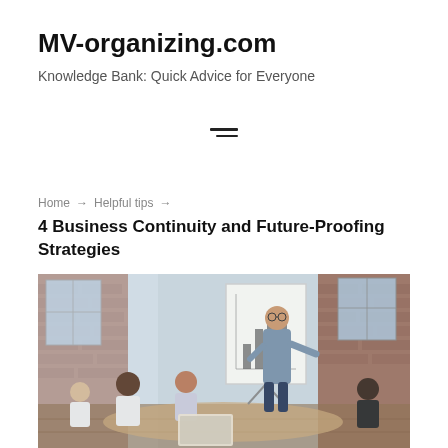MV-organizing.com
Knowledge Bank: Quick Advice for Everyone
Home → Helpful tips →
4 Business Continuity and Future-Proofing Strategies
[Figure (photo): A business presenter standing at a whiteboard with a bar chart, pointing to data, while several seated colleagues look on in a modern brick-walled office space.]